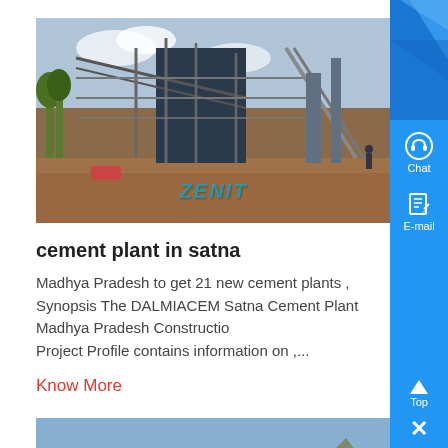[Figure (photo): Cement plant construction site with steel framework and conveyor structures, ZENIT watermark]
cement plant in satna
Madhya Pradesh to get 21 new cement plants , Synopsis The DALMIACEM Satna Cement Plant Madhya Pradesh Construction Project Profile contains information on ,...
Know More
[Figure (photo): Cement plant equipment under a steel roof structure, ZENIT watermark]